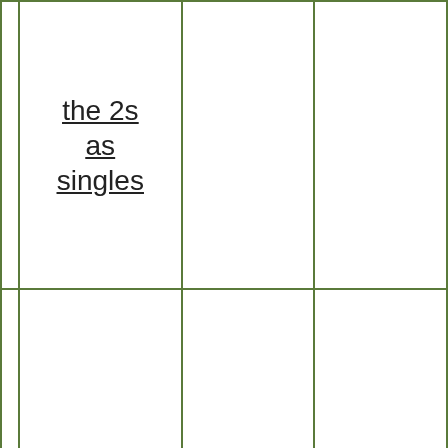| the 2s as singles |  |  |
| 3 club 1 hand async fountain in triples | 16/19 | 3c |
| 3 club 3 half ... | 🏆 3/13 | 308c |